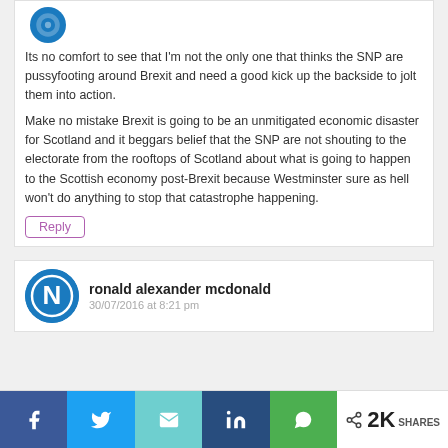Its no comfort to see that I'm not the only one that thinks the SNP are pussyfooting around Brexit and need a good kick up the backside to jolt them into action.

Make no mistake Brexit is going to be an unmitigated economic disaster for Scotland and it beggars belief that the SNP are not shouting to the electorate from the rooftops of Scotland about what is going to happen to the Scottish economy post-Brexit because Westminster sure as hell won't do anything to stop that catastrophe happening.
Reply
ronald alexander mcdonald
30/07/2016 at 8:21 pm
< 2K SHARES